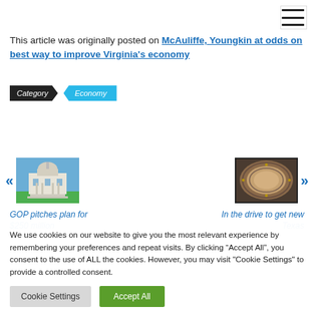This article was originally posted on McAuliffe, Youngkin at odds on best way to improve Virginia's economy
Category | Economy
[Figure (screenshot): Carousel with two thumbnail images: left shows a state capitol building, right shows an ornate dome ceiling. Navigation arrows on each side. Below: link text 'GOP pitches plan for $250 million...' on left and 'In the drive to get new Texas...' on right.]
We use cookies on our website to give you the most relevant experience by remembering your preferences and repeat visits. By clicking "Accept All", you consent to the use of ALL the cookies. However, you may visit "Cookie Settings" to provide a controlled consent.